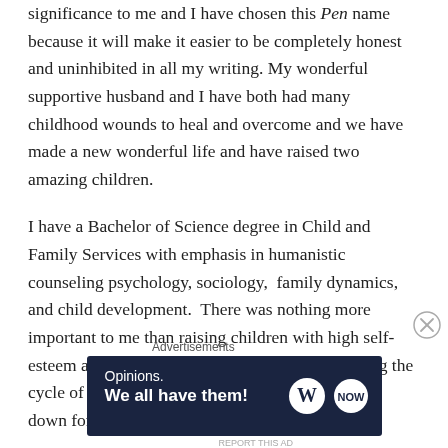significance to me and I have chosen this Pen name because it will make it easier to be completely honest and uninhibited in all my writing. My wonderful supportive husband and I have both had many childhood wounds to heal and overcome and we have made a new wonderful life and have raised two amazing children.
I have a Bachelor of Science degree in Child and Family Services with emphasis in humanistic counseling psychology, sociology,  family dynamics, and child development.  There was nothing more important to me than raising children with high self-esteem and to be emotionally healthy, and breaking the cycle of emotional repression that has been passed down for generations
[Figure (other): Advertisement banner with dark navy background. Text reads 'Opinions. We all have them!' with WordPress logo and another circular logo on the right side.]